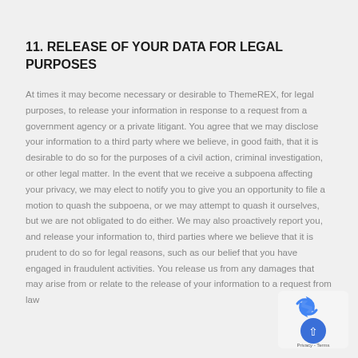11. RELEASE OF YOUR DATA FOR LEGAL PURPOSES
At times it may become necessary or desirable to ThemeREX, for legal purposes, to release your information in response to a request from a government agency or a private litigant. You agree that we may disclose your information to a third party where we believe, in good faith, that it is desirable to do so for the purposes of a civil action, criminal investigation, or other legal matter. In the event that we receive a subpoena affecting your privacy, we may elect to notify you to give you an opportunity to file a motion to quash the subpoena, or we may attempt to quash it ourselves, but we are not obligated to do either. We may also proactively report you, and release your information to, third parties where we believe that it is prudent to do so for legal reasons, such as our belief that you have engaged in fraudulent activities. You release us from any damages that may arise from or relate to the release of your information to a request from law